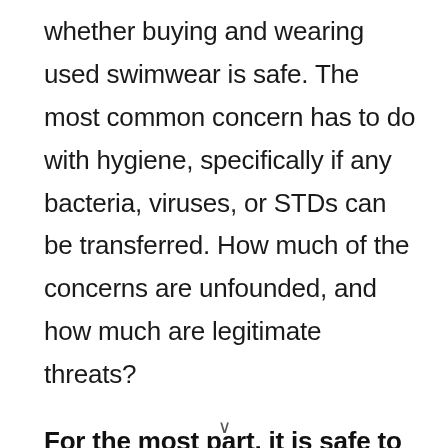whether buying and wearing used swimwear is safe. The most common concern has to do with hygiene, specifically if any bacteria, viruses, or STDs can be transferred. How much of the concerns are unfounded, and how much are legitimate threats?
For the most part, it is safe to buy and wear used swimsuits. This is a great way to save money, save the environment,